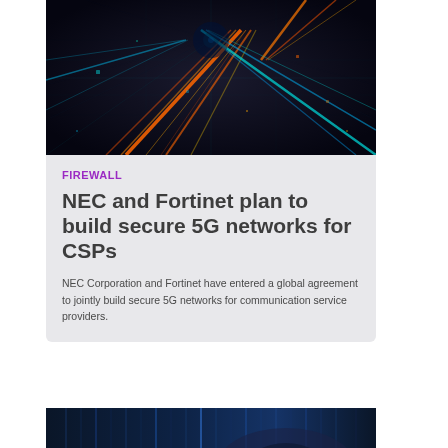[Figure (photo): Dark tech/digital background with colorful light streaks (cyan and orange) representing high-speed data or network corridors]
FIREWALL
NEC and Fortinet plan to build secure 5G networks for CSPs
NEC Corporation and Fortinet have entered a global agreement to jointly build secure 5G networks for communication service providers.
[Figure (photo): Dark blue toned image, partially visible, appears to show a technology or person silhouette]